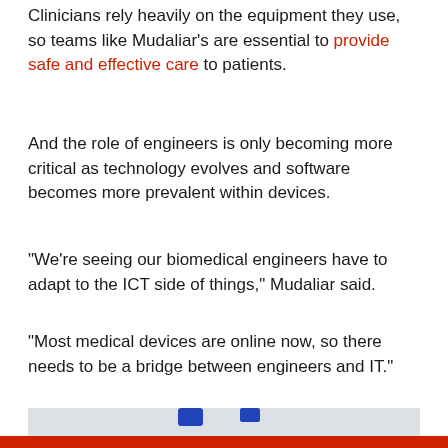Clinicians rely heavily on the equipment they use, so teams like Mudaliar's are essential to provide safe and effective care to patients.
And the role of engineers is only becoming more critical as technology evolves and software becomes more prevalent within devices.
“We’re seeing our biomedical engineers have to adapt to the ICT side of things,” Mudaliar said.
“Most medical devices are online now, so there needs to be a bridge between engineers and IT.”
[Figure (photo): Interior photo of a medical or dental operatory room showing multiple computer monitor screens mounted on articulating arms against windows with blinds, and white medical equipment arms visible on the right side.]